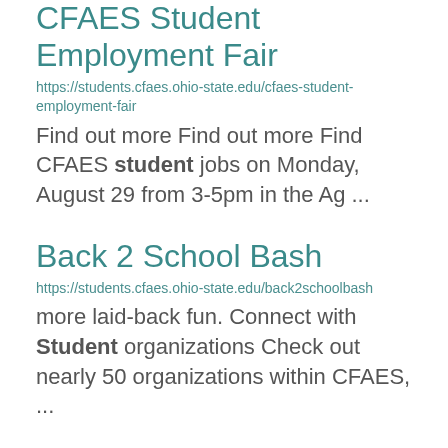CFAES Student Employment Fair
https://students.cfaes.ohio-state.edu/cfaes-student-employment-fair
Find out more Find out more Find CFAES student jobs on Monday, August 29 from 3-5pm in the Ag ...
Back 2 School Bash
https://students.cfaes.ohio-state.edu/back2schoolbash
more laid-back fun. Connect with Student organizations Check out nearly 50 organizations within CFAES, ...
Summer Veggies, Fruit Leather
https://extension.osu.edu/today/summer-veggies-